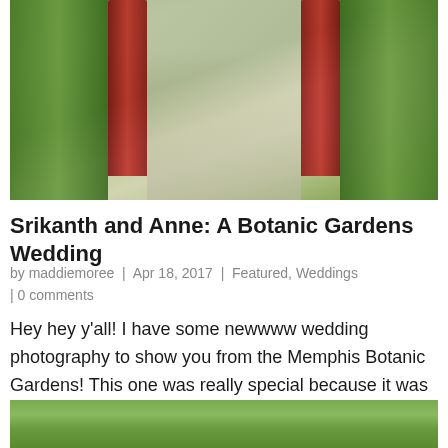[Figure (photo): Outdoor garden path with red columns/pillars and green foliage, blurred background]
Srikanth and Anne: A Botanic Gardens Wedding
by maddiemoree | Apr 18, 2017 | Featured, Weddings | 0 comments
Hey hey y'all! I have some newwww wedding photography to show you from the Memphis Botanic Gardens! This one was really special because it was an amazing combo of Indian and American traditions, more so Indian than American. I loooooved all of the colors against…
[Figure (photo): Bottom portion of another garden photo, green foliage]